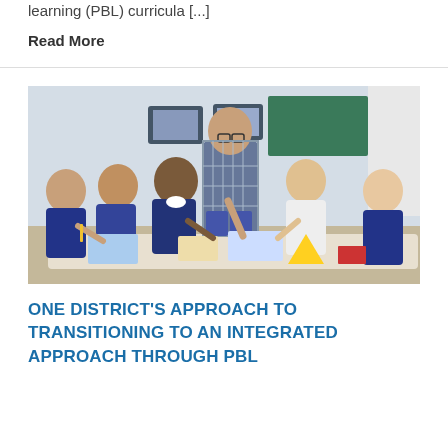learning (PBL) curricula [...]
Read More
[Figure (photo): A teacher leaning over a table helping a group of elementary school children working on a hands-on project in a classroom setting. Children of diverse backgrounds are gathered around a white table with papers and colorful materials.]
ONE DISTRICT'S APPROACH TO TRANSITIONING TO AN INTEGRATED APPROACH THROUGH PBL